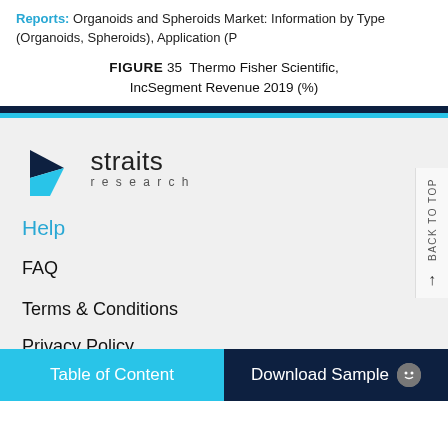Reports: Organoids and Spheroids Market: Information by Type (Organoids, Spheroids), Application (P
FIGURE 35 Thermo Fisher Scientific, IncSegment Revenue 2019 (%)
[Figure (logo): Straits Research logo with cyan angular arrow shape and company name]
Help
FAQ
Terms & Conditions
Privacy Policy
Table of Content    Download Sample